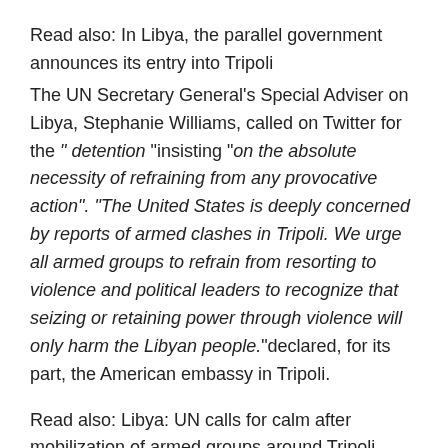Read also: In Libya, the parallel government announces its entry into Tripoli
The UN Secretary General's Special Adviser on Libya, Stephanie Williams, called on Twitter for the " detention "insisting "on the absolute necessity of refraining from any provocative action". "The United States is deeply concerned by reports of armed clashes in Tripoli. We urge all armed groups to refrain from resorting to violence and political leaders to recognize that seizing or retaining power through violence will only harm the Libyan people."declared, for its part, the American embassy in Tripoli.
Read also: Libya: UN calls for calm after mobilization of armed groups around Tripoli
The head of European diplomacy, Josep Borrell, spoke of a situation "has become very serious in recent hours". "We expected something like this to happen, because in Libya we didn't have elections but we have two governments (…) And sooner or later, when there are two governments, they confront"he said in...